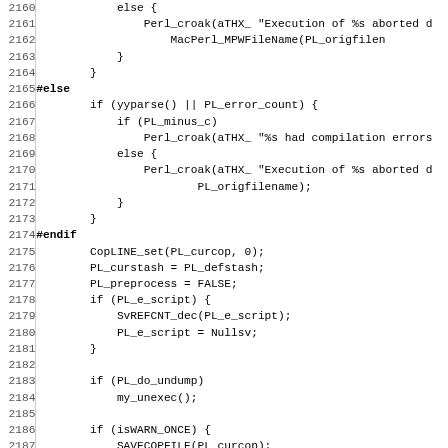[Figure (screenshot): Source code listing in monospace font showing C/Perl code lines 2160-2192 with line numbers on the left and code on the right]